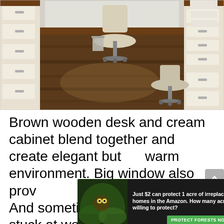[Figure (photo): Interior photo of a home office with brown wooden desks along both walls, cream/white cabinet drawers with silver handles, dark hardwood flooring, and two office chairs with silver bases. A small trash can is visible near the left desk.]
Brown wooden desk and cream cabinet blend together and create elegant but warm environment. Big window also provides fresh air flows. And sometimes when you got stuck at work, by looking the worlds
[Figure (infographic): Advertisement overlay: dark background with forest/Amazon imagery on left side. Text reads: 'Just $2 can protect 1 acre of irreplaceable forest homes in the Amazon. How many acres are you willing to protect?' with a green button labeled 'PROTECT FORESTS NOW']